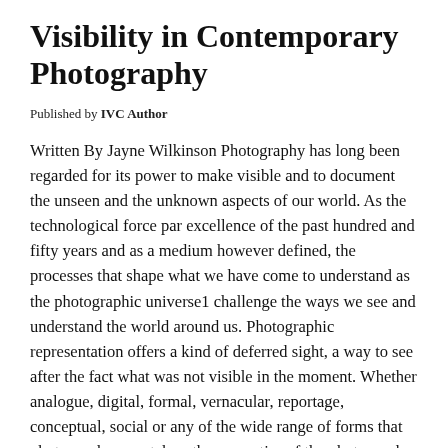Visibility in Contemporary Photography
Published by IVC Author
Written By Jayne Wilkinson Photography has long been regarded for its power to make visible and to document the unseen and the unknown aspects of our world. As the technological force par excellence of the past hundred and fifty years and as a medium however defined, the processes that shape what we have come to understand as the photographic universe1 challenge the ways we see and understand the world around us. Photographic representation offers a kind of deferred sight, a way to see after the fact what was not visible in the moment. Whether analogue, digital, formal, vernacular, reportage, conceptual, social or any of the wide range of forms that photography now takes, the properties of the photograph make visible, or reveal,